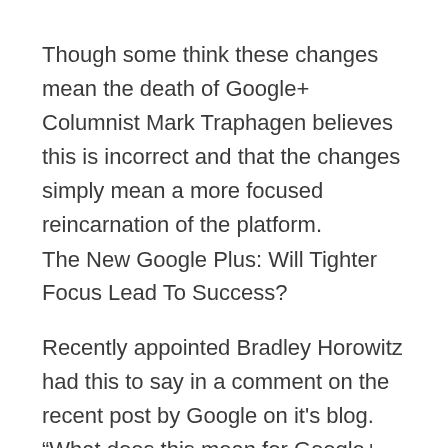Though some think these changes mean the death of Google+ Columnist Mark Traphagen believes this is incorrect and that the changes simply mean a more focused reincarnation of the platform.
The New Google Plus: Will Tighter Focus Lead To Success?
Recently appointed Bradley Horowitz had this to say in a comment on the recent post by Google on it's blog. “What does this mean for Google+ the product? Relieved of the notion of integrating with every other product at Google,